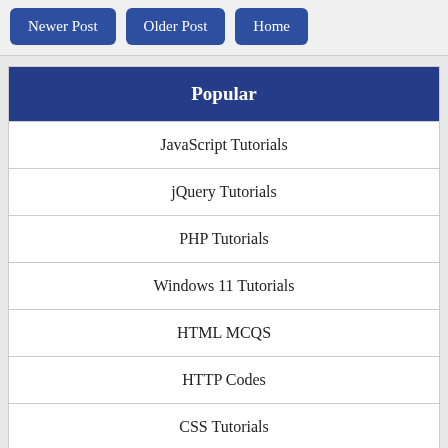Newer Post
Older Post
Home
Popular
JavaScript Tutorials
jQuery Tutorials
PHP Tutorials
Windows 11 Tutorials
HTML MCQS
HTTP Codes
CSS Tutorials
Brands Color Codes